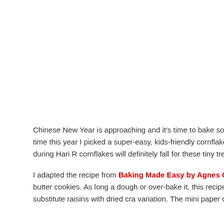Chinese New Year is approaching and it's time to bake some festive cookies to made my favourite pineapple rolls which may be considered tedious and time this year I picked a super-easy, kids-friendly cornflake cookies recipe for sharing among Chinese during Chinese New Year but also among Malays during Hari R cornflakes will definitely fall for these tiny treats.
I adapted the recipe from Baking Made Easy by Agnes Chang (菜菜菜菜菜菜菜菜菜菜) but based on the techniques I learnt when making coconut butter cookies. As long a dough or over-bake it, this recipe produces buttery cookies that are crunchy out add a pleasant surprise to the cookies. You can substitute raisins with dried cra variation. The mini paper cups make these cookies look prettier and not messy